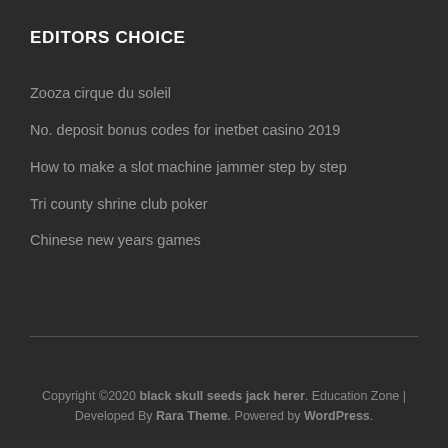EDITORS CHOICE
Zooza cirque du soleil
No. deposit bonus codes for inetbet casino 2019
How to make a slot machine jammer step by step
Tri county shrine club poker
Chinese new years games
Copyright ©2020 black skull seeds jack herer. Education Zone | Developed By Rara Theme. Powered by WordPress.